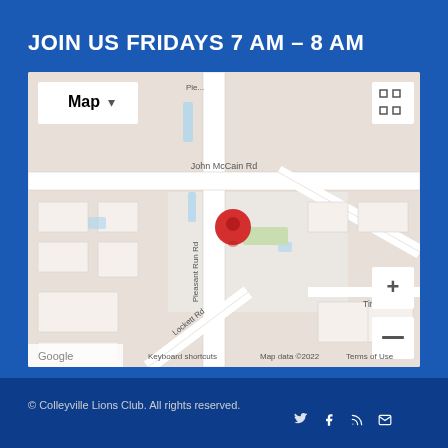JOIN US FRIDAYS 7 AM – 8 AM
[Figure (map): Google Maps screenshot showing a location pin on Pleasant Run Rd near John McCain Rd. Map controls visible include Map dropdown, fullscreen icon, zoom in (+) and zoom out (-) buttons. Map data ©2022, Google branding, Terms of Use link, Keyboard shortcuts label. Streets visible: John McCain Rd, Pleasant Run Rd, Lockett Rd, Tinker.]
© Colleyville Lions Club. All rights reserved.